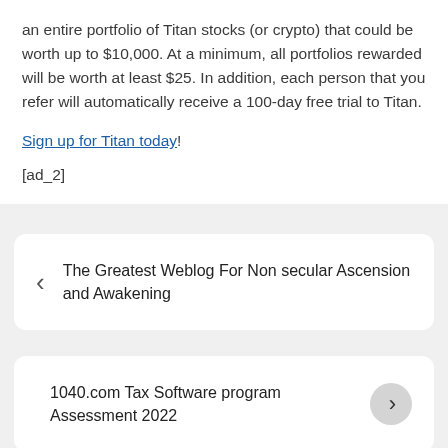an entire portfolio of Titan stocks (or crypto) that could be worth up to $10,000. At a minimum, all portfolios rewarded will be worth at least $25. In addition, each person that you refer will automatically receive a 100-day free trial to Titan.
Sign up for Titan today!
[ad_2]
The Greatest Weblog For Non secular Ascension and Awakening
1040.com Tax Software program Assessment 2022